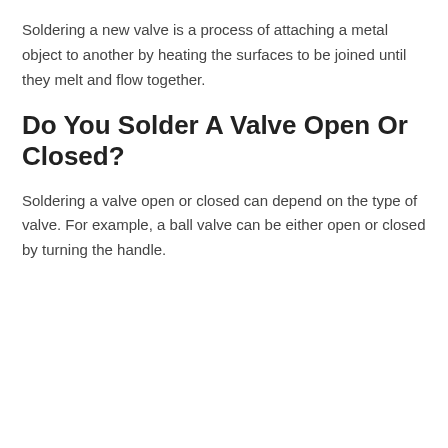Soldering a new valve is a process of attaching a metal object to another by heating the surfaces to be joined until they melt and flow together.
Do You Solder A Valve Open Or Closed?
Soldering a valve open or closed can depend on the type of valve. For example, a ball valve can be either open or closed by turning the handle.